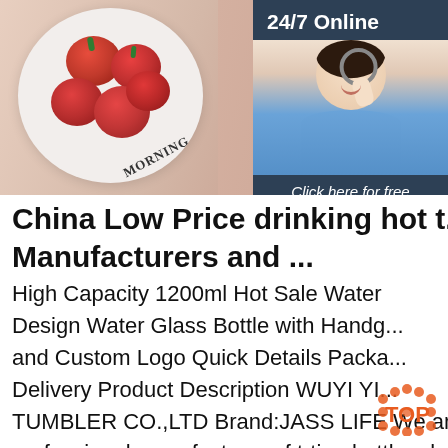[Figure (photo): Hero image showing a white plate with red cherry tomatoes held by a person, with 'GOOD MORNING' text visible. A customer service agent photo is shown in the right sidebar panel with a headset, alongside a '24/7 Online' label, 'Click here for free chat!' text, and an orange QUOTATION button.]
China Low Price drinking hot t... Manufacturers and ...
High Capacity 1200ml Hot Sale Water Design Water Glass Bottle with Handg... and Custom Logo Quick Details Packa... Delivery Product Description WUYI YI... TUMBLER CO.,LTD Brand:JASS LIFE We are a professional manufacturer of trtian bottle, plastic cup,coffee tumbler, straw cup item, We have been in this field more than 10 years. we are more sale for promotion gift purchase...